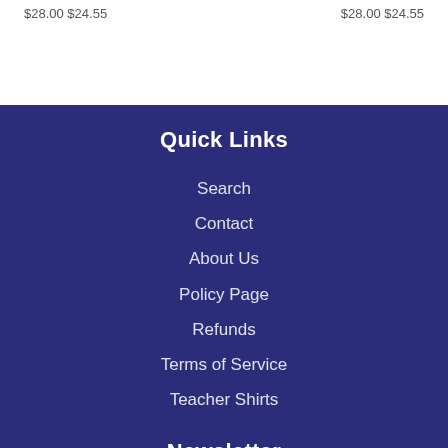$28.00 $24.55   $28.00 $24.55
Quick Links
Search
Contact
About Us
Policy Page
Refunds
Terms of Service
Teacher Shirts
Newsletter